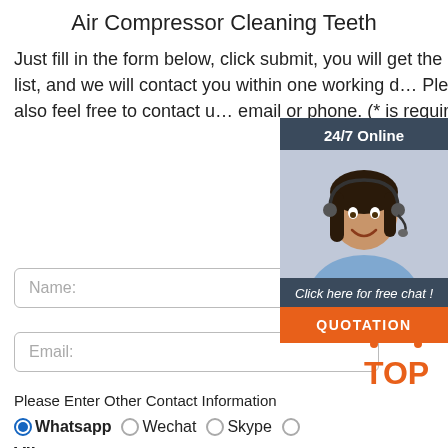Air Compressor Cleaning Teeth
Just fill in the form below, click submit, you will get the price list, and we will contact you within one working day. Please also feel free to contact us via email or phone. (* is required).
[Figure (illustration): Customer service representative with headset, 24/7 Online banner, Click here for free chat text, and QUOTATION button overlay panel on the right side]
Name:
Email:
Please Enter Other Contact Information
Whatsapp
Wechat
Skype
Viber
Contact information Whatsapp
Phone: